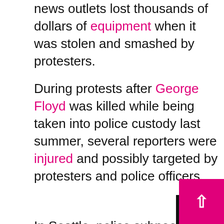news outlets lost thousands of dollars of equipment when it was stolen and smashed by protesters.
During protests after George Floyd was killed while being taken into police custody last summer, several reporters were injured and possibly targeted by protesters and police officers.
In Seattle, police subpoenaed the Seattle Times and several television stations in June 2020 to obtain unpublished images from protests there to identify people suspected of criminal activity. The news organizations challenged the subpoenas in court under Washington state's shield law, which protects journalists from being forced to name confidential sources or turn over unpublished information to state